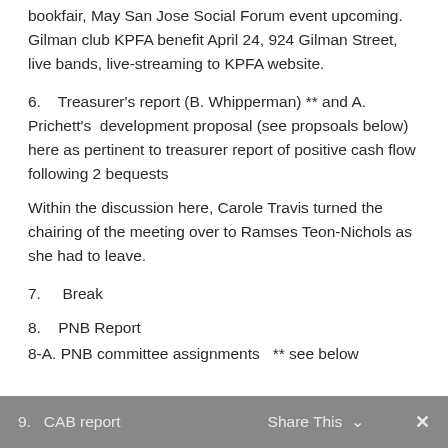bookfair, May San Jose Social Forum event upcoming. Gilman club KPFA benefit April 24, 924 Gilman Street, live bands, live-streaming to KPFA website.
6.   Treasurer's report (B. Whipperman) ** and A. Prichett's  development proposal (see propsoals below) here as pertinent to treasurer report of positive cash flow following 2 bequests
Within the discussion here, Carole Travis turned the chairing of the meeting over to Ramses Teon-Nichols as she had to leave.
7.    Break
8.   PNB Report
8-A. PNB committee assignments  ** see below
9.   CAB report    Share This  ∨    ✕